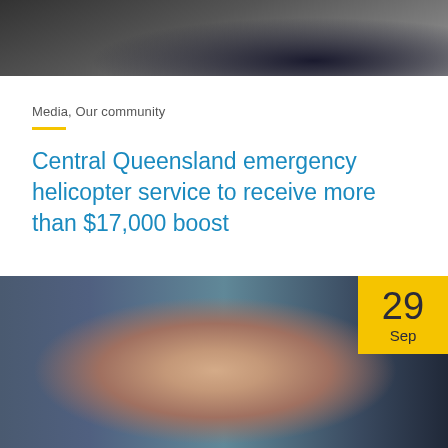[Figure (photo): Dark toned photo of people partially visible at the top of the page]
Media, Our community
Central Queensland emergency helicopter service to receive more than $17,000 boost
[Figure (photo): Photo of a young man smiling, with colorful imagery in the background, with a yellow date badge showing 29 Sep]